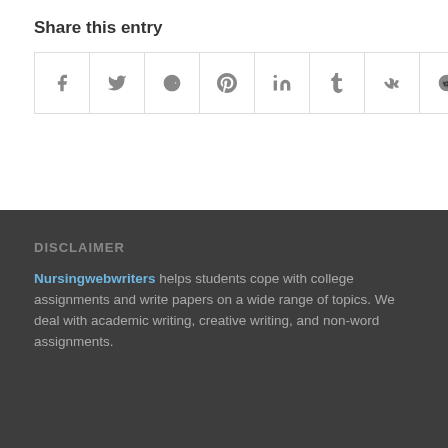Share this entry
[Figure (infographic): Row of 9 social media share icon buttons: Facebook, Twitter, Google+, Pinterest, LinkedIn, Tumblr, VK, Reddit, Email]
DISCLAIMER
Nursingwebwriters helps students cope with college assignments and write papers on a wide range of topics. We deal with academic writing, creative writing, and non-word assignments.